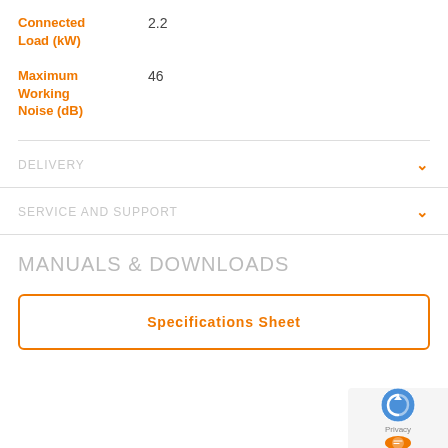| Specification | Value |
| --- | --- |
| Connected Load (kW) | 2.2 |
| Maximum Working Noise (dB) | 46 |
DELIVERY
SERVICE AND SUPPORT
MANUALS & DOWNLOADS
Specifications Sheet